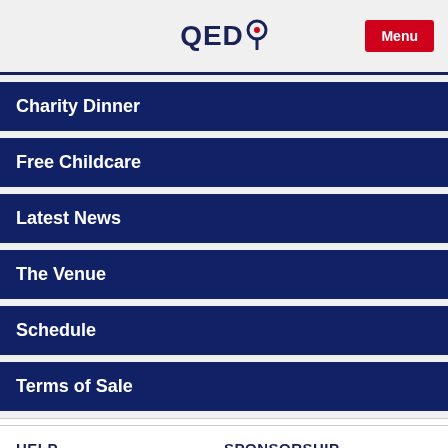QED Menu
Charity Dinner
Free Childcare
Latest News
The Venue
Schedule
Terms of Sale
HELP
SPONSORSHIP
Contact Us
Advertising
Accessibility
Exhibitors